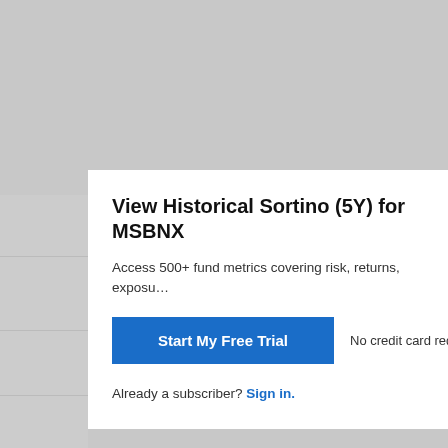[Figure (screenshot): Background of a financial data website showing a partially visible table with 'Upgrade' links, 'Minimum', 'Maximum' labels, and dates 'JUN 2022', 'SEP 2019'. A modal popup overlays the content.]
View Historical Sortino (5Y) for MSBNX
Access 500+ fund metrics covering risk, returns, exposu...
Start My Free Trial   No credit card required.
Already a subscriber? Sign in.
Upgrade
Minimum
JUN 2022
Upgrade
Maximum
SEP 2019
Upgrade
Average
Upgrade
Median